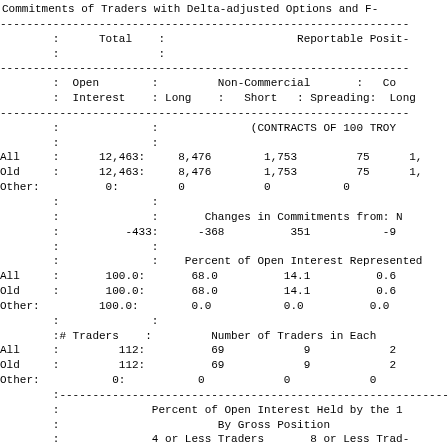Commitments of Traders with Delta-adjusted Options and F-
|  | Total |  | Reportable Posit- |  | Non-Commercial | Co- |
| --- | --- | --- | --- | --- | --- | --- |
|  | Open |  | Non-Commercial |  | Co- |
|  | Interest | Long | Short | Spreading: | Long |
|  |  |  | (CONTRACTS OF 100 TROY |  |  |
| All | 12,463: | 8,476 | 1,753 | 75 | 1, |
| Old | 12,463: | 8,476 | 1,753 | 75 | 1, |
| Other: | 0: | 0 | 0 | 0 |  |
|  |  |  | Changes in Commitments from: N |  |  |
|  | -433: | -368 | 351 | -9 |  |
|  |  | Percent of Open Interest Represented |  |  |  |
| All | 100.0: | 68.0 | 14.1 | 0.6 |  |
| Old | 100.0: | 68.0 | 14.1 | 0.6 |  |
| Other: | 100.0: | 0.0 | 0.0 | 0.0 |  |
|  | # Traders : |  | Number of Traders in Each |  |  |
| All | 112: | 69 | 9 | 2 |  |
| Old | 112: | 69 | 9 | 2 |  |
| Other: | 0: | 0 | 0 | 0 |  |
|  |  | Percent of Open Interest Held by the 1 |  |  |  |
|  |  | By Gross Position |  |  |  |
|  |  | 4 or Less Traders |  | 8 or Less Trad- |  |
|  |  | Long: | Short | Long | Sh |